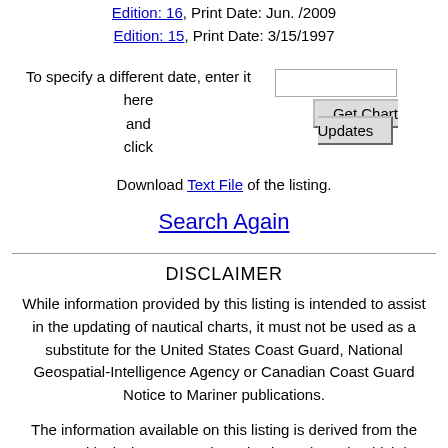Edition: 16, Print Date: Jun. /2009
Edition: 15, Print Date: 3/15/1997
To specify a different date, enter it here and click Get Chart Updates
Download Text File of the listing.
Search Again
DISCLAIMER
While information provided by this listing is intended to assist in the updating of nautical charts, it must not be used as a substitute for the United States Coast Guard, National Geospatial-Intelligence Agency or Canadian Coast Guard Notice to Mariner publications.
The information available on this listing is derived from the NOS Critical Chart Corrections database (CRIT), which is used as an in-